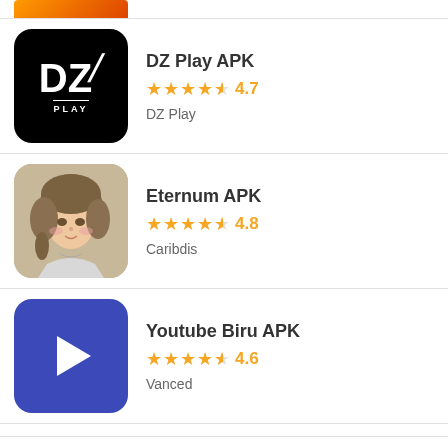[Figure (screenshot): Partial app icon at top, orange/red gradient]
DZ Play APK
4.7
DZ Play
[Figure (illustration): Eternum APK app icon showing anime character with brown hair]
Eternum APK
4.8
Caribdis
[Figure (logo): Youtube Biru APK icon - dark blue rounded square with white play button]
Youtube Biru APK
4.6
Vanced